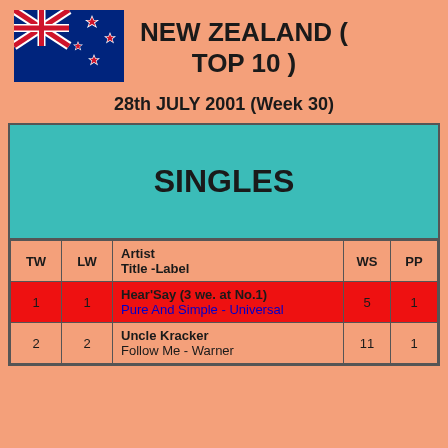[Figure (illustration): New Zealand flag]
NEW ZEALAND ( TOP 10 )
28th JULY 2001 (Week 30)
| TW | LW | Artist / Title - Label | WS | PP |
| --- | --- | --- | --- | --- |
| 1 | 1 | Hear'Say (3 we. at No.1) / Pure And Simple - Universal | 5 | 1 |
| 2 | 2 | Uncle Kracker / Follow Me - Warner | 11 | 1 |